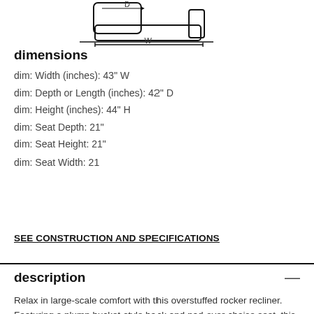[Figure (engineering-diagram): Line drawing of a recliner chair from an isometric perspective, with dimension labels D (depth) and W (width) indicated by arrows.]
dimensions
dim: Width (inches): 43" W
dim: Depth or Length (inches): 42" D
dim: Height (inches): 44" H
dim: Seat Depth: 21"
dim: Seat Height: 21"
dim: Seat Width: 21
SEE CONSTRUCTION AND SPECIFICATIONS
description
Relax in large-scale comfort with this overstuffed rocker recliner. Featuring a plump bucket-style back and pad-over-chaise seat, this chair offers soft, bonded leather cushion from head to toe. In